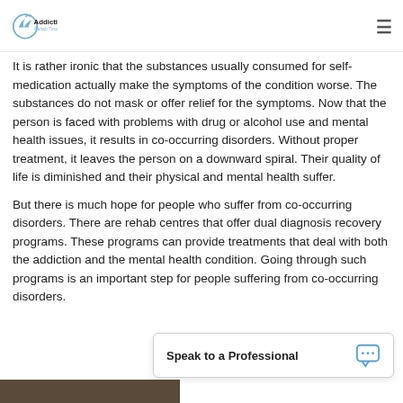Addiction Rehab Toronto
It is rather ironic that the substances usually consumed for self-medication actually make the symptoms of the condition worse. The substances do not mask or offer relief for the symptoms. Now that the person is faced with problems with drug or alcohol use and mental health issues, it results in co-occurring disorders. Without proper treatment, it leaves the person on a downward spiral. Their quality of life is diminished and their physical and mental health suffer.
But there is much hope for people who suffer from co-occurring disorders. There are rehab centres that offer dual diagnosis recovery programs. These programs can provide treatments that deal with both the addiction and the mental health condition. Going through such programs is an important step for people suffering from co-occurring disorders.
Speak to a Professional